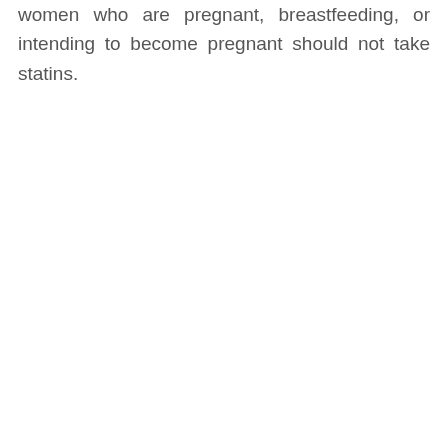women who are pregnant, breastfeeding, or intending to become pregnant should not take statins.